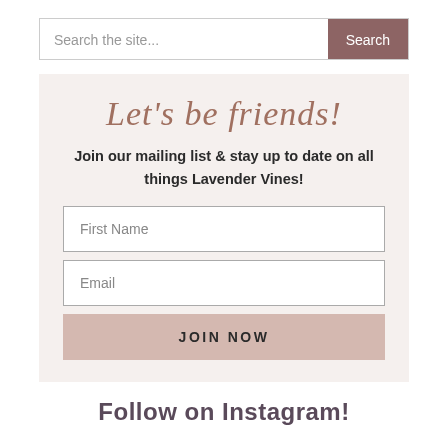Search the site...
Let's be friends!
Join our mailing list & stay up to date on all things Lavender Vines!
First Name
Email
JOIN NOW
Follow on Instagram!